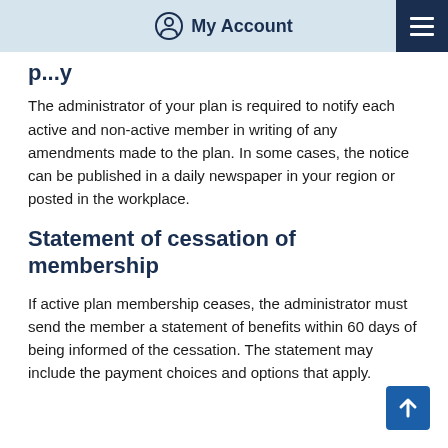My Account
p...y
The administrator of your plan is required to notify each active and non-active member in writing of any amendments made to the plan. In some cases, the notice can be published in a daily newspaper in your region or posted in the workplace.
Statement of cessation of membership
If active plan membership ceases, the administrator must send the member a statement of benefits within 60 days of being informed of the cessation. The statement may include the payment choices and options that apply.